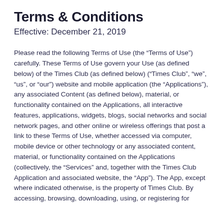Terms & Conditions
Effective: December 21, 2019
Please read the following Terms of Use (the “Terms of Use”) carefully. These Terms of Use govern your Use (as defined below) of the Times Club (as defined below) (“Times Club”, “we”, “us”, or “our”) website and mobile application (the “Applications”), any associated Content (as defined below), material, or functionality contained on the Applications, all interactive features, applications, widgets, blogs, social networks and social network pages, and other online or wireless offerings that post a link to these Terms of Use, whether accessed via computer, mobile device or other technology or any associated content, material, or functionality contained on the Applications (collectively, the “Services” and, together with the Times Club Application and associated website, the “App”). The App, except where indicated otherwise, is the property of Times Club. By accessing, browsing, downloading, using, or registering for